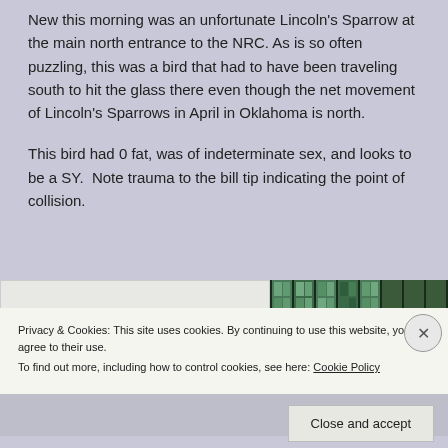New this morning was an unfortunate Lincoln's Sparrow at the main north entrance to the NRC. As is so often puzzling, this was a bird that had to have been traveling south to hit the glass there even though the net movement of Lincoln's Sparrows in April in Oklahoma is north.
This bird had 0 fat, was of indeterminate sex, and looks to be a SY. Note trauma to the bill tip indicating the point of collision.
[Figure (photo): Partial view of a document page showing '13 April 2017 – Lincoln's Sparrow' and a photo of a building with glass windows]
Privacy & Cookies: This site uses cookies. By continuing to use this website, you agree to their use. To find out more, including how to control cookies, see here: Cookie Policy
Close and accept